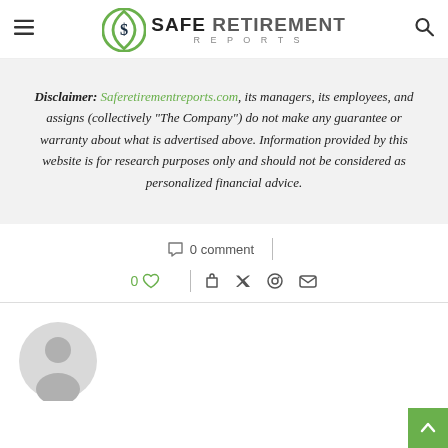Safe Retirement Reports
Disclaimer: Saferetirementreports.com, its managers, its employees, and assigns (collectively "The Company") do not make any guarantee or warranty about what is advertised above. Information provided by this website is for research purposes only and should not be considered as personalized financial advice.
0 comment
0
[Figure (illustration): Default user avatar - grey circular silhouette of a person]